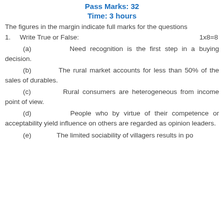Pass Marks: 32
Time: 3 hours
The figures in the margin indicate full marks for the questions
1. Write True or False: 1x8=8
(a) Need recognition is the first step in a buying decision.
(b) The rural market accounts for less than 50% of the sales of durables.
(c) Rural consumers are heterogeneous from income point of view.
(d) People who by virtue of their competence or acceptability yield influence on others are regarded as opinion leaders.
(e) The limited sociability of villagers results in po...